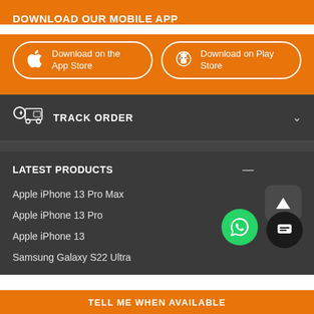DOWNLOAD OUR MOBILE APP
Download on the App Store
Download on Play Store
TRACK ORDER
LATEST PRODUCTS
Apple iPhone 13 Pro Max
Apple iPhone 13 Pro
Apple iPhone 13
Samsung Galaxy S22 Ultra
TELL ME WHEN AVAILABLE